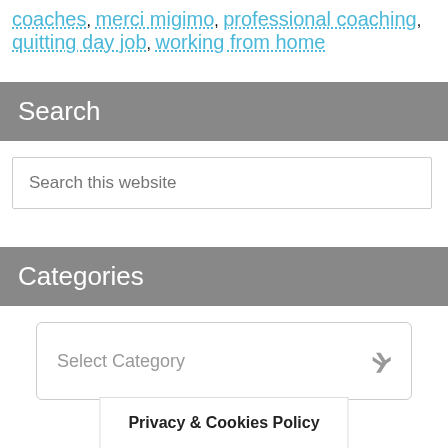coaches, merci migimo, professional coaching, quitting day job, working from home
Search
Search this website
Categories
Select Category
Privacy & Cookies Policy